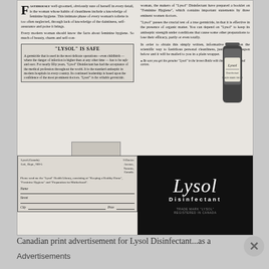[Figure (illustration): Vintage Canadian print advertisement for Lysol Disinfectant, showing two-column layout with text about feminine hygiene, a Lysol bottle illustration, a coupon form, and a black Lysol Disinfectant logo box.]
Canadian print advertisement for Lysol Disinfectant...as a
Advertisements